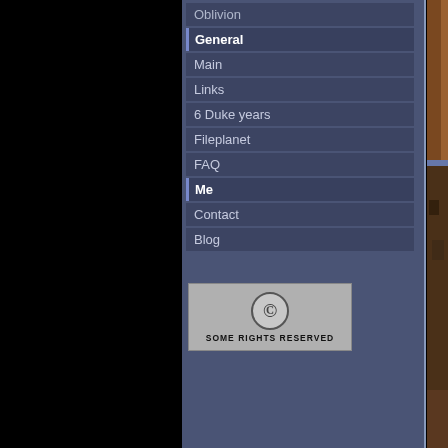Oblivion
General
Main
Links
6 Duke years
Fileplanet
FAQ
Me
Contact
Blog
[Figure (logo): Creative Commons Some Rights Reserved badge]
[Figure (screenshot): Top game screenshot showing Egyptian-themed Build engine game, with a purple icon and pharaoh face visible]
[Figure (screenshot): Bottom game screenshot showing Egyptian-themed Build engine game level with dark tones, purple icon overlay]
This is a Build-engine s know existed until year LAW wanted me to pla its kind) he had made t to see why the game w lame Egyptian theme f attention in the midst o Build shooters (not to